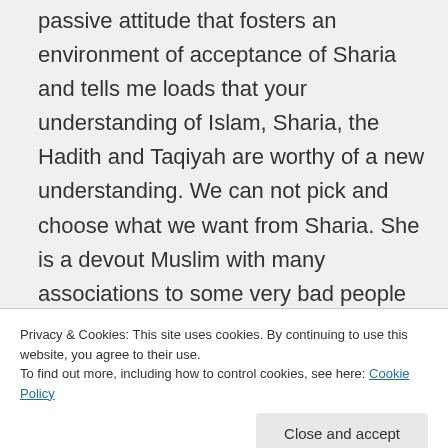passive attitude that fosters an environment of acceptance of Sharia and tells me loads that your understanding of Islam, Sharia, the Hadith and Taqiyah are worthy of a new understanding. We can not pick and choose what we want from Sharia. She is a devout Muslim with many associations to some very bad people and has raised money for many bad people for very bad reasons. As I can tell you have taken this
Privacy & Cookies: This site uses cookies. By continuing to use this website, you agree to their use.
To find out more, including how to control cookies, see here: Cookie Policy
Something stinks about this! Can't figure it